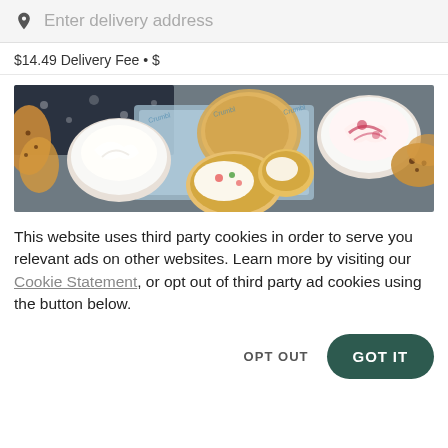Enter delivery address
$14.49 Delivery Fee • $
[Figure (photo): Overhead photo of assorted cookies and cream-topped desserts on a gray surface, including large frosted sugar cookies, bowls of whipped cream, and chocolate chip cookies, arranged on a white tray with branded blue paper liners.]
This website uses third party cookies in order to serve you relevant ads on other websites. Learn more by visiting our Cookie Statement, or opt out of third party ad cookies using the button below.
OPT OUT
GOT IT